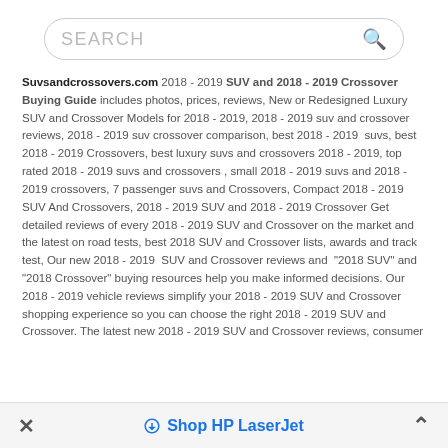[Figure (screenshot): Search bar with placeholder text SEARCH and a magnifying glass icon]
Suvsandcrossovers.com 2018 - 2019 SUV and 2018 - 2019 Crossover Buying Guide includes photos, prices, reviews, New or Redesigned Luxury SUV and Crossover Models for 2018 - 2019, 2018 - 2019 suv and crossover reviews, 2018 - 2019 suv crossover comparison, best 2018 - 2019 suvs, best 2018 - 2019 Crossovers, best luxury suvs and crossovers 2018 - 2019, top rated 2018 - 2019 suvs and crossovers , small 2018 - 2019 suvs and 2018 - 2019 crossovers, 7 passenger suvs and Crossovers, Compact 2018 - 2019 SUV And Crossovers, 2018 - 2019 SUV and 2018 - 2019 Crossover Get detailed reviews of every 2018 - 2019 SUV and Crossover on the market and the latest on road tests, best 2018 SUV and Crossover lists, awards and track test, Our new 2018 - 2019 SUV and Crossover reviews and "2018 SUV" and "2018 Crossover" buying resources help you make informed decisions. Our 2018 - 2019 vehicle reviews simplify your 2018 - 2019 SUV and Crossover shopping experience so you can choose the right 2018 - 2019 SUV and Crossover. The latest new 2018 - 2019 SUV and Crossover reviews, consumer
Shop HP LaserJet